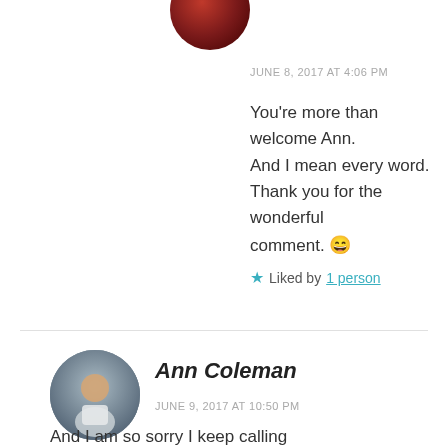[Figure (photo): Circular avatar image at top, partially cropped, showing a reddish/dark image]
JUNE 8, 2017 AT 4:06 PM
You're more than welcome Ann. And I mean every word. Thank you for the wonderful comment. 😄
★ Liked by 1 person
[Figure (photo): Circular avatar photo of a young man in a light shirt standing against a stone wall]
Ann Coleman
JUNE 9, 2017 AT 10:50 PM
And I am so sorry I keep calling you Andy! I know your name is